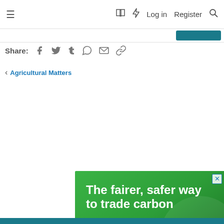≡  [book icon] [lightning icon]  Log in  Register  [search icon]
Share: [facebook] [twitter] [tumblr] [whatsapp] [email] [link]
< Agricultural Matters
[Figure (illustration): Advertisement banner for Sandy by Trinity Agtech. Green gradient background with white bold text: 'The fairer, safer way to trade carbon'. Bottom section is white with the Sandy logo (green leaf/plant icon) and text 'sandy BY TRINITY AGTECH'. Close button (X) in top-right corner.]